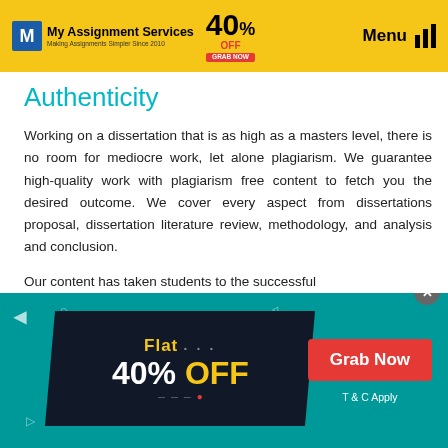My Assignment Services · Making Assignments Simpler Since 2010 · 40% OFF GRAB NOW · Menu
Authenticity
Working on a dissertation that is as high as a masters level, there is no room for mediocre work, let alone plagiarism. We guarantee high-quality work with plagiarism free content to fetch you the desired outcome. We cover every aspect from dissertations proposal, dissertation literature review, methodology, and analysis and conclusion.
Our content has taken students to the successful
[Figure (infographic): Promotional banner with teal background showing 'Flat 40% OFF' in a dark parallelogram shape with decorative elements, and a red 'Grab Now' button with 'T & C Apply' text]